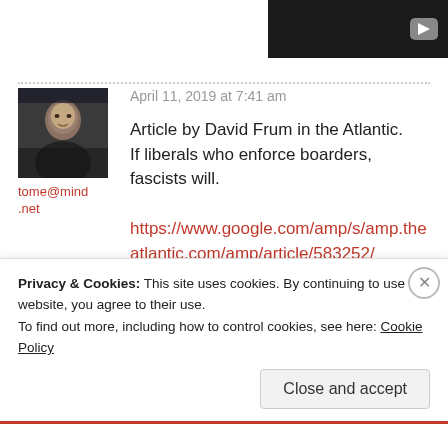[Figure (screenshot): Video thumbnail (dark background with play button) in top right corner]
April 11, 2019 at 7:41 am
[Figure (photo): Avatar photo of a man, profile picture for user tome@mind.net]
tome@mind.net
Article by David Frum in the Atlantic. If liberals who enforce boarders, fascists will.
https://www.google.com/amp/s/amp.theatlantic.com/amp/article/583252/
Privacy & Cookies: This site uses cookies. By continuing to use this website, you agree to their use.
To find out more, including how to control cookies, see here: Cookie Policy
Close and accept